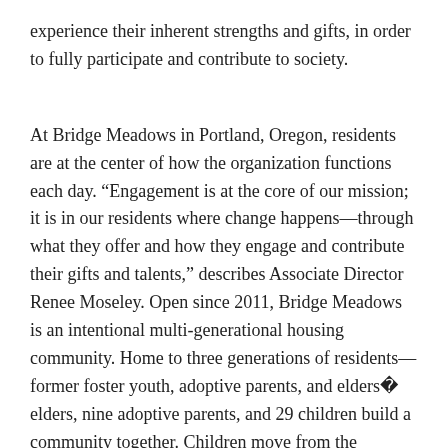experience their inherent strengths and gifts, in order to fully participate and contribute to society.
At Bridge Meadows in Portland, Oregon, residents are at the center of how the organization functions each day. “Engagement is at the core of our mission; it is in our residents where change happens—through what they offer and how they engage and contribute their gifts and talents,” describes Associate Director Renee Moseley. Open since 2011, Bridge Meadows is an intentional multi-generational housing community. Home to three generations of residents—former foster youth, adoptive parents, and elders—29 elders, nine adoptive parents, and 29 children build a community together. Children move from the instability of foster care placements to permanent homes and families. Adoptive families receive essential resources and guidance, and elders each volunteer 100 hours per quarter in service to the community while continuing to build the meaningful social connections that support ongoing health and wellness. By integrating child welfare, foster care, affordable housing, and elder services, Bridge Meadows is